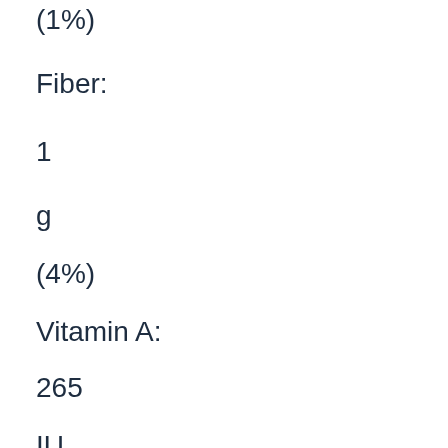(1%)
Fiber:
1
g
(4%)
Vitamin A:
265
IU
(5%)
Calcium: